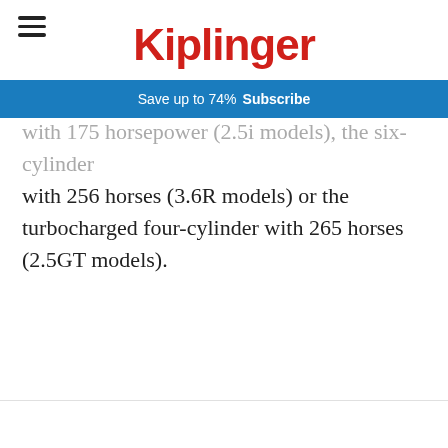Kiplinger — Save up to 74% Subscribe
with 175 horsepower (2.5i models), the six-cylinder with 256 horses (3.6R models) or the turbocharged four-cylinder with 265 horses (2.5GT models).